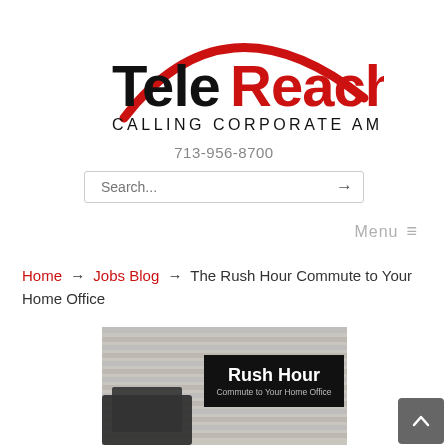[Figure (logo): TeleReach logo with red arc above text. 'Tele' in black bold, 'Reach' in red bold, subtitle 'CALLING CORPORATE AMERICA' in black small caps.]
713-956-8700
Search...
Menu ≡
Home → Jobs Blog → The Rush Hour Commute to Your Home Office
[Figure (photo): Image of window blinds with a dark overlay label reading 'Rush Hour' and subtitle 'Commute to Your Home Office'.]